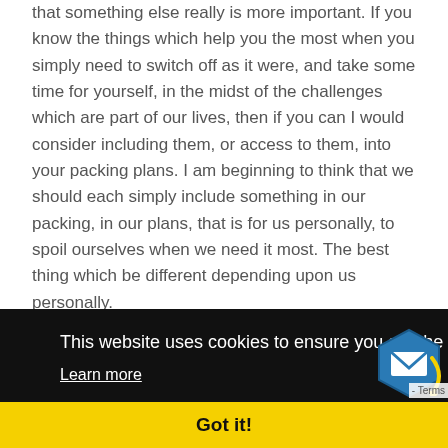that something else really is more important. If you know the things which help you the most when you simply need to switch off as it were, and take some time for yourself, in the midst of the challenges which are part of our lives, then if you can I would consider including them, or access to them, into your packing plans. I am beginning to think that we should each simply include something in our packing, in our plans, that is for us personally, to spoil ourselves when we need it most. The best thing which be different depending upon us personally.
On the personal side of packing, and after not having this for a ... I would ... not ... harder ... ou can
[Figure (screenshot): Cookie consent overlay banner with black background. Text reads: 'This website uses cookies to ensure you get the best experience on our website.' with a 'Learn more' link. A yellow 'Got it!' button bar at the bottom. A blue hexagonal email icon in the bottom right. A 'Terms' label partially visible at bottom right.]